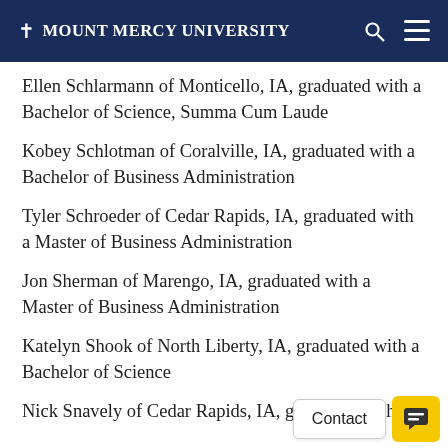† Mount Mercy University
Ellen Schlarmann of Monticello, IA, graduated with a Bachelor of Science, Summa Cum Laude
Kobey Schlotman of Coralville, IA, graduated with a Bachelor of Business Administration
Tyler Schroeder of Cedar Rapids, IA, graduated with a Master of Business Administration
Jon Sherman of Marengo, IA, graduated with a Master of Business Administration
Katelyn Shook of North Liberty, IA, graduated with a Bachelor of Science
Nick Snavely of Cedar Rapids, IA, graduated with a